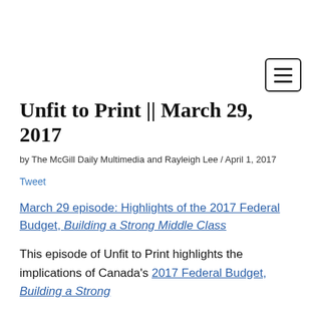Navigation menu button
Unfit to Print || March 29, 2017
by The McGill Daily Multimedia and Rayleigh Lee / April 1, 2017
Tweet
March 29 episode: Highlights of the 2017 Federal Budget, Building a Strong Middle Class
This episode of Unfit to Print highlights the implications of Canada's 2017 Federal Budget, Building a Strong